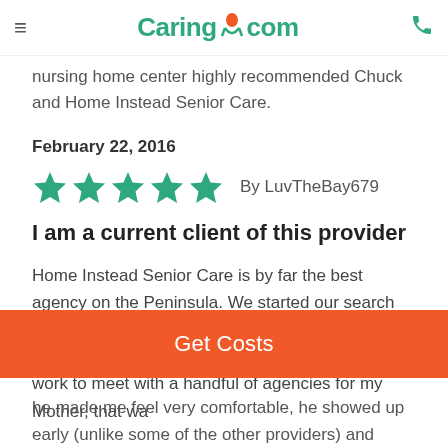≡  Caring.com  📞
nursing home center highly recommended Chuck and Home Instead Senior Care.
February 22, 2016
★★★★★  By LuvTheBay679
I am a current client of this provider
Home Instead Senior Care is by far the best agency on the Peninsula. We started our search based on recommendations from friends, church members and Physicians. I took time away from work to meet with a handful of agencies for my Mother, that was
Get Costs
he made me feel very comfortable, he showed up early (unlike some of the other providers) and